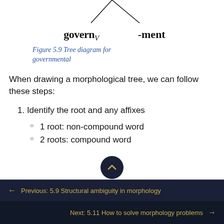[Figure (other): Tree diagram showing morphological split of 'governmental' into 'govern_V' and '-ment' with branching lines from a node above]
Figure 5.9 Tree diagram for governmental
When drawing a morphological tree, we can follow these steps:
1. Identify the root and any affixes
1 root: non-compound word
2 roots: compound word
← Previous: 5.9 Structural ambiguity in morphology
Next: 5.11 How to solve morphology problems →